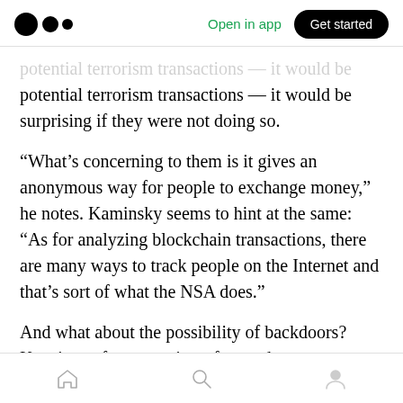Medium — Open in app | Get started
potential terrorism transactions — it would be surprising if they were not doing so.
“What’s concerning to them is it gives an anonymous way for people to exchange money,” he notes. Kaminsky seems to hint at the same: “As for analyzing blockchain transactions, there are many ways to track people on the Internet and that’s sort of what the NSA does.”
And what about the possibility of backdoors? Keeping software projects free and open source rather than closed and proprietary is widely
Home | Search | Profile